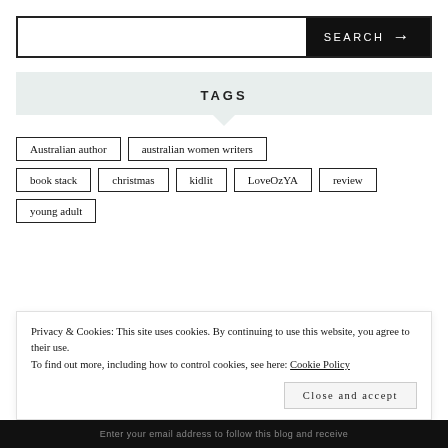[Figure (screenshot): Search bar with text input and black SEARCH button with arrow]
TAGS
Australian author
australian women writers
book stack
christmas
kidlit
LoveOzYA
review
young adult
Privacy & Cookies: This site uses cookies. By continuing to use this website, you agree to their use.
To find out more, including how to control cookies, see here: Cookie Policy
Close and accept
Enter your email address to follow this blog and receive...